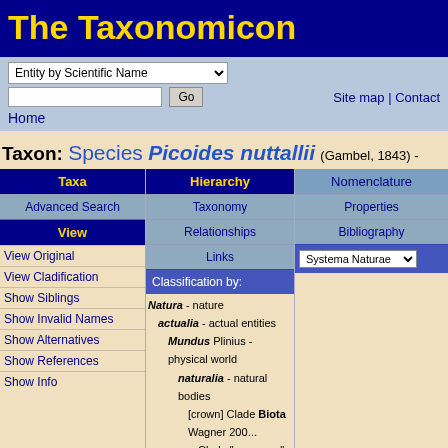The Taxonomicon
Entity by Scientific Name [dropdown] [search box] Go
Home | Site map | Contact
Taxon: Species Picoides nuttallii (Gambel, 1843) -
| Taxa | Hierarchy | Nomenclature |
| --- | --- | --- |
| Advanced Search | Taxonomy | Properties |
| View | Relationships | Bibliography |
| View Original | Links |  |
| View Cladification |  |  |
| Show Siblings |  |  |
| Show Invalid Names |  |  |
| Show Alternatives |  |  |
| Show References |  |  |
| Show Info |  |  |
Classification by: Systema Naturae
Natura - nature
actualia - actual entities
Mundus Plinius - physical world
naturalia - natural bodies
[crown] Clade Biota Wagner 2004
Clade "neomura" Cavalier-Smith
Domain Eukaryota Chatton, 19